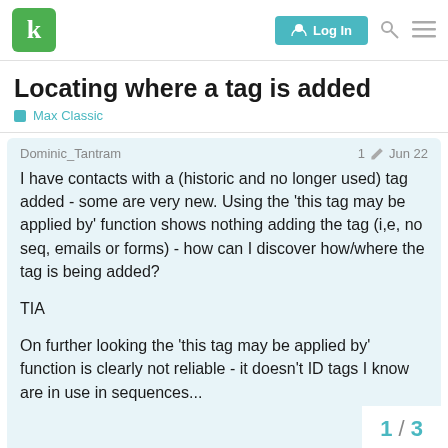Keap community header with Log In button
Locating where a tag is added
Max Classic
Dominic_Tantram  1 ✏  Jun 22

I have contacts with a (historic and no longer used) tag added - some are very new. Using the 'this tag may be applied by' function shows nothing adding the tag (i,e, no seq, emails or forms) - how can I discover how/where the tag is being added?

TIA

On further looking the 'this tag may be applied by' function is clearly not reliable - it doesn't ID tags I know are in use in sequences...
1 / 3